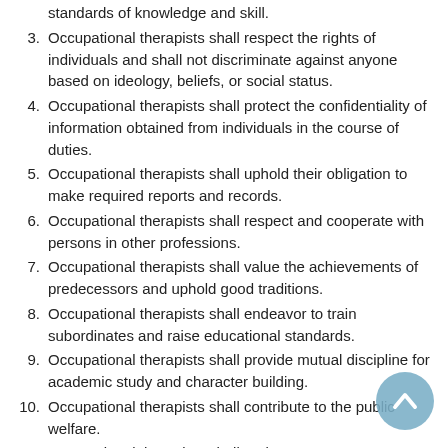standards of knowledge and skill.
3. Occupational therapists shall respect the rights of individuals and shall not discriminate against anyone based on ideology, beliefs, or social status.
4. Occupational therapists shall protect the confidentiality of information obtained from individuals in the course of duties.
5. Occupational therapists shall uphold their obligation to make required reports and records.
6. Occupational therapists shall respect and cooperate with persons in other professions.
7. Occupational therapists shall value the achievements of predecessors and uphold good traditions.
8. Occupational therapists shall endeavor to train subordinates and raise educational standards.
9. Occupational therapists shall provide mutual discipline for academic study and character building.
10. Occupational therapists shall contribute to the public welfare.
11. Occupational therapists shall endeavor to...